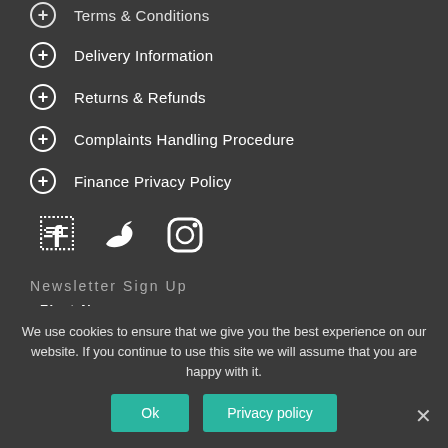Terms & Conditions
Delivery Information
Returns & Refunds
Complaints Handling Procedure
Finance Privacy Policy
[Figure (infographic): Social media icons: Facebook, Twitter, Instagram]
Newsletter Sign Up
First Name
We use cookies to ensure that we give you the best experience on our website. If you continue to use this site we will assume that you are happy with it.
Ok
Privacy policy